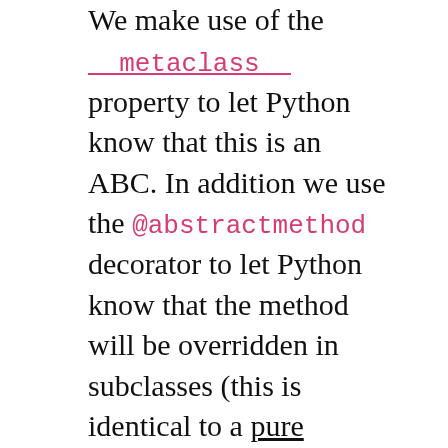We make use of the __metaclass__ property to let Python know that this is an ABC. In addition we use the @abstractmethod decorator to let Python know that the method will be overridden in subclasses (this is identical to a pure virtual method in C++).
The two methods of interest are get_latest_bars and update_bars. The former returns the last N bars from the current heartbeat timestamp, which is useful for rolling calculations needed in Strategy classes. The latter method provides a "drip feed" mechanism for placing bar information on a new data